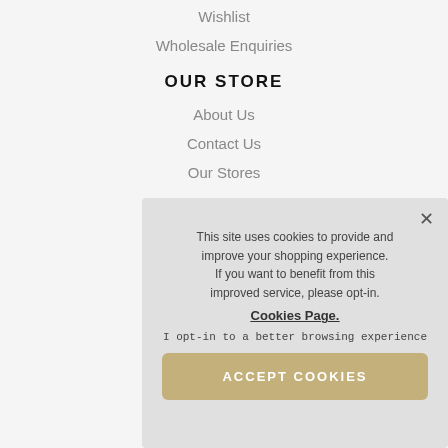Wishlist
Wholesale Enquiries
OUR STORE
About Us
Contact Us
Our Stores
This site uses cookies to provide and improve your shopping experience. If you want to benefit from this improved service, please opt-in. Cookies Page.

I opt-in to a better browsing experience

ACCEPT COOKIES